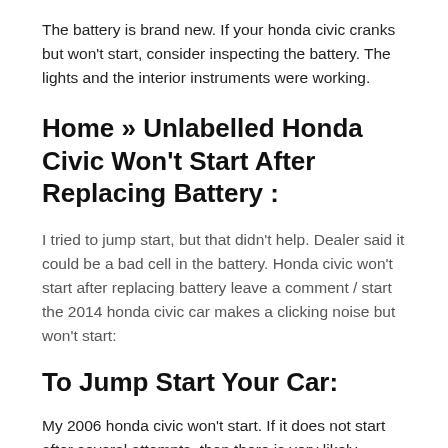The battery is brand new. If your honda civic cranks but won't start, consider inspecting the battery. The lights and the interior instruments were working.
Home » Unlabelled Honda Civic Won't Start After Replacing Battery :
I tried to jump start, but that didn't help. Dealer said it could be a bad cell in the battery. Honda civic won't start after replacing battery leave a comment / start the 2014 honda civic car makes a clicking noise but won't start:
To Jump Start Your Car:
My 2006 honda civic won't start. If it does not start after several attempts, then there is very likely another problem and the car will have to be towed to the workshop. While there are